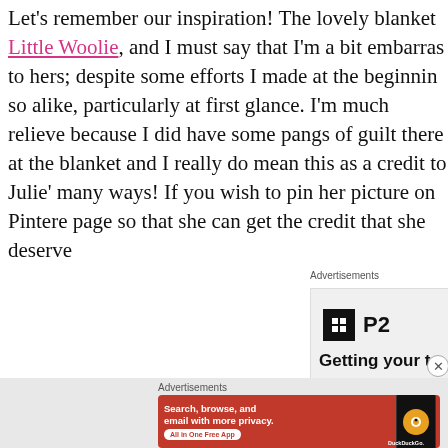Let's remember our inspiration! The lovely blanket Little Woolie, and I must say that I'm a bit embarrassed to hers; despite some efforts I made at the beginning so alike, particularly at first glance. I'm much relieved because I did have some pangs of guilt there at the blanket and I really do mean this as a credit to Julie's many ways! If you wish to pin her picture on Pinterest page so that she can get the credit that she deserves
[Figure (screenshot): Advertisement: P2 logo with text 'Getting your te...' and a close button]
[Figure (screenshot): DuckDuckGo advertisement: orange background with text 'Search, browse, and email with more privacy. All in One Free App' with phone image showing DuckDuckGo logo]